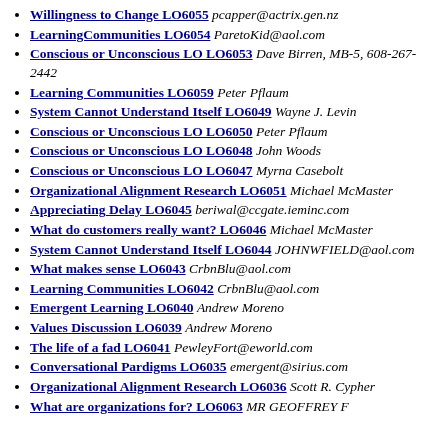Willingness to Change LO6055 pcapper@actrix.gen.nz
LearningCommunities LO6054 ParetoKid@aol.com
Conscious or Unconscious LO LO6053 Dave Birren, MB-5, 608-267-2442
Learning Communities LO6059 Peter Pflaum
System Cannot Understand Itself LO6049 Wayne J. Levin
Conscious or Unconscious LO LO6050 Peter Pflaum
Conscious or Unconscious LO LO6048 John Woods
Conscious or Unconscious LO LO6047 Myrna Casebolt
Organizational Alignment Research LO6051 Michael McMaster
Appreciating Delay LO6045 beriwal@ccgate.ieminc.com
What do customers really want? LO6046 Michael McMaster
System Cannot Understand Itself LO6044 JOHNWFIELD@aol.com
What makes sense LO6043 CrbnBlu@aol.com
Learning Communities LO6042 CrbnBlu@aol.com
Emergent Learning LO6040 Andrew Moreno
Values Discussion LO6039 Andrew Moreno
The life of a fad LO6041 PewleyFort@eworld.com
Conversational Pardigms LO6035 emergent@sirius.com
Organizational Alignment Research LO6036 Scott R. Cypher
What are organizations for? LO6063 MR GEOFFREY F